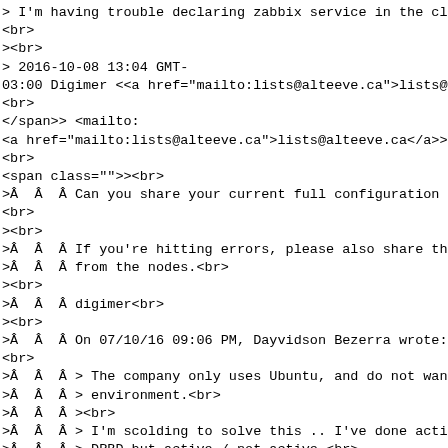> I'm having trouble declaring zabbix service in the clu
<br>
><br>
> 2016-10-08 13:04 GMT-
03:00 Digimer <<a href="mailto:lists@alteeve.ca">lists@al
<br>
</span>> <mailto:
<a href="mailto:lists@alteeve.ca">lists@alteeve.ca</a>>>
<br>
<span class="">><br>
>Â  Â  Â Can you share your current full configuration pl
<br>
><br>
>Â  Â  Â If you're hitting errors, please also share the
>Â  Â  Â from the nodes.<br>
><br>
>Â  Â  Â digimer<br>
><br>
>Â  Â  Â On 07/10/16 09:06 PM, Dayvidson Bezerra wrote:
<br>
>Â  Â  Â > The company only uses Ubuntu, and do not want
>Â  Â  Â > environment.<br>
>Â  Â  Â ><br>
>Â  Â  Â > I'm scolding to solve this .. I've done active
>Â  Â  Â > DRBD but active / not active.<br>
>Â  Â  Â ><br>
>Â  Â  Â > What I have read is about the use of pacemake
<br>
>Â  Â  Â ><br>
>Â  Â  Â > Someone who has already succeeded in making ac